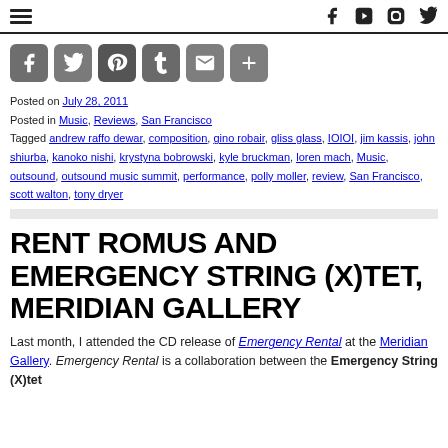Navigation and social icons header
[Figure (other): Social share buttons: Facebook, Twitter, Pinterest, Tumblr, Email, More]
Posted on July 28, 2011
Posted in Music, Reviews, San Francisco
Tagged andrew raffo dewar, composition, gino robair, gliss glass, IOIOI, jim kassis, john shiurba, kanoko nishi, krystyna bobrowski, kyle bruckman, loren mach, Music, outsound, outsound music summit, performance, polly moller, review, San Francisco, scott walton, tony dryer
RENT ROMUS AND EMERGENCY STRING (X)TET, MERIDIAN GALLERY
Last month, I attended the CD release of Emergency Rental at the Meridian Gallery. Emergency Rental is a collaboration between the Emergency String (X)tet